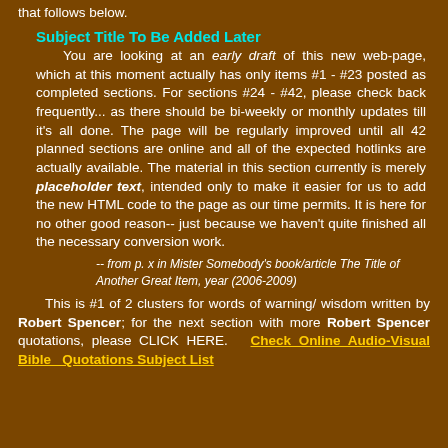that follows below.
Subject Title To Be Added Later
You are looking at an early draft of this new web-page, which at this moment actually has only items #1 - #23 posted as completed sections. For sections #24 - #42, please check back frequently... as there should be bi-weekly or monthly updates till it's all done. The page will be regularly improved until all 42 planned sections are online and all of the expected hotlinks are actually available. The material in this section currently is merely placeholder text, intended only to make it easier for us to add the new HTML code to the page as our time permits. It is here for no other good reason-- just because we haven't quite finished all the necessary conversion work.
-- from p. x in Mister Somebody's book/article The Title of Another Great Item, year (2006-2009)
This is #1 of 2 clusters for words of warning/ wisdom written by Robert Spencer; for the next section with more Robert Spencer quotations, please CLICK HERE.   Check Online Audio-Visual Bible   Quotations Subject List